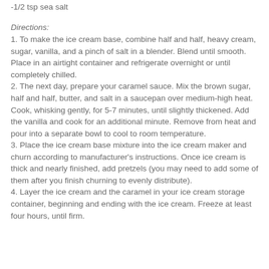-1/2 tsp sea salt
Directions:
1. To make the ice cream base, combine half and half, heavy cream, sugar, vanilla, and a pinch of salt in a blender. Blend until smooth. Place in an airtight container and refrigerate overnight or until completely chilled.
2. The next day, prepare your caramel sauce. Mix the brown sugar, half and half, butter, and salt in a saucepan over medium-high heat. Cook, whisking gently, for 5-7 minutes, until slightly thickened. Add the vanilla and cook for an additional minute. Remove from heat and pour into a separate bowl to cool to room temperature.
3. Place the ice cream base mixture into the ice cream maker and churn according to manufacturer's instructions. Once ice cream is thick and nearly finished, add pretzels (you may need to add some of them after you finish churning to evenly distribute).
4. Layer the ice cream and the caramel in your ice cream storage container, beginning and ending with the ice cream. Freeze at least four hours, until firm.